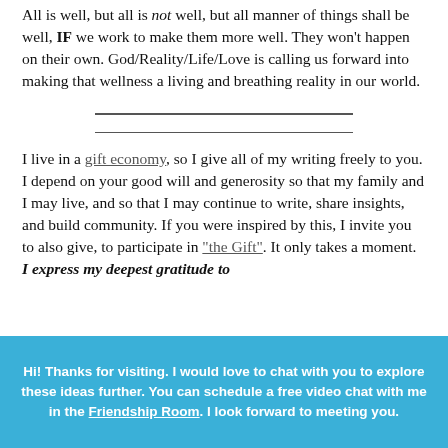All is well, but all is not well, but all manner of things shall be well, IF we work to make them more well. They won't happen on their own. God/Reality/Life/Love is calling us forward into making that wellness a living and breathing reality in our world.
I live in a gift economy, so I give all of my writing freely to you. I depend on your good will and generosity so that my family and I may live, and so that I may continue to write, share insights, and build community. If you were inspired by this, I invite you to also give, to participate in "the Gift". It only takes a moment. I express my deepest gratitude to
Hi! Thanks for visiting. I would love to chat with you to explore these ideas further. You can schedule a free video chat with me in the Friendship Room. I look forward to meeting you.